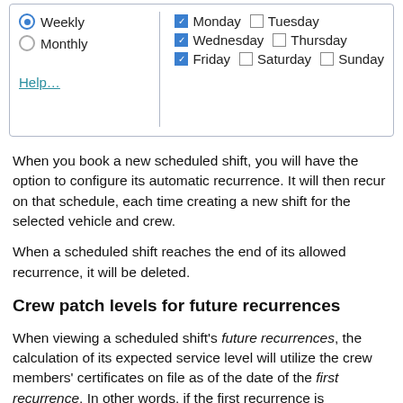[Figure (screenshot): UI panel showing recurrence schedule options: Weekly (radio selected) and Monthly (radio unselected) on left; checkboxes for Monday (checked), Tuesday (unchecked), Wednesday (checked), Thursday (unchecked), Friday (checked), Saturday (unchecked), Sunday (unchecked) on right; Help... link at bottom left.]
When you book a new scheduled shift, you will have the option to configure its automatic recurrence. It will then recur on that schedule, each time creating a new shift for the selected vehicle and crew.
When a scheduled shift reaches the end of its allowed recurrence, it will be deleted.
Crew patch levels for future recurrences
When viewing a scheduled shift's future recurrences, the calculation of its expected service level will utilize the crew members' certificates on file as of the date of the first recurrence. In other words, if the first recurrence is Wednesday, then a later recurrence on Friday will expect the crew members to have the